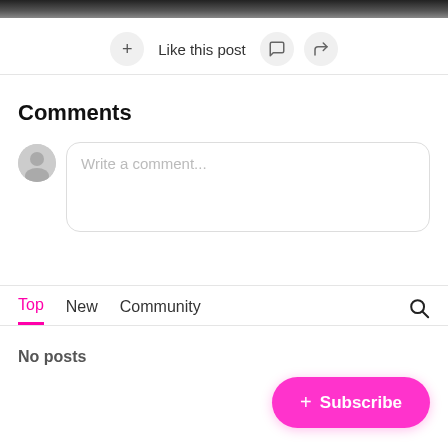[Figure (photo): Dark/black top image strip representing a photo or banner]
+ Like this post
Comments
Write a comment...
Top  New  Community
No posts
+ Subscribe